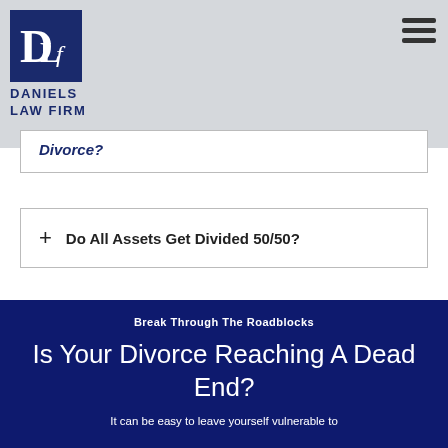[Figure (logo): Daniels Law Firm logo — monogram DLF in a dark navy square badge with 'DANIELS LAW FIRM' text below]
Divorce?
+ Do All Assets Get Divided 50/50?
Break Through The Roadblocks
Is Your Divorce Reaching A Dead End?
It can be easy to leave yourself vulnerable to